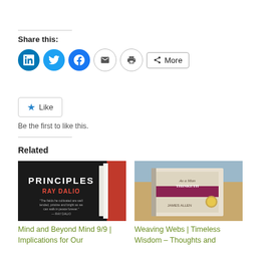Share this:
[Figure (infographic): Social share buttons: LinkedIn (blue circle), Twitter (blue circle), Facebook (blue circle), Email (outline circle), Print (outline circle), More button]
[Figure (infographic): Like button with star icon]
Be the first to like this.
Related
[Figure (photo): Book cover: Principles by Ray Dalio, dark cover with red author name]
Mind and Beyond Mind 9/9 | Implications for Our
[Figure (photo): Book: As a Man Thinketh by James Allen on a wooden table]
Weaving Webs | Timeless Wisdom – Thoughts and